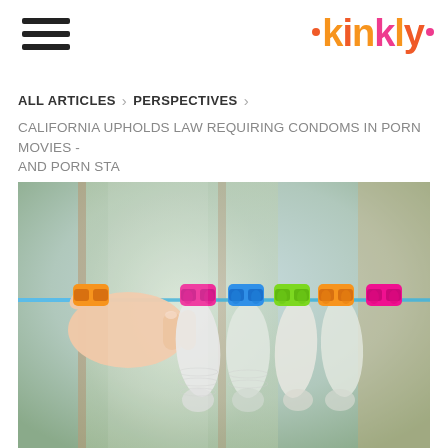kinkly
ALL ARTICLES > PERSPECTIVES >
CALIFORNIA UPHOLDS LAW REQUIRING CONDOMS IN PORN MOVIES - AND PORN STA
[Figure (photo): A hand holding colorful clothespins (pink, blue, green, orange) on a clothesline with condoms hanging from them, against a bright blurred background.]